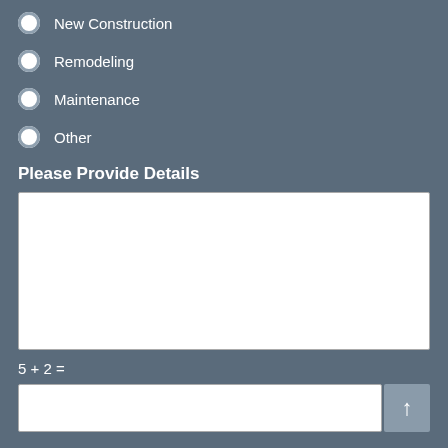New Construction
Remodeling
Maintenance
Other
Please Provide Details
5 + 2 =